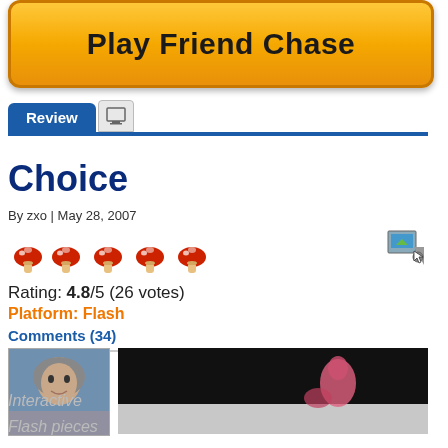[Figure (screenshot): Orange gradient button with text 'Play Friend Chase']
Review
Choice
By zxo | May 28, 2007
[Figure (other): Five red mushroom rating icons]
Rating: 4.8/5 (26 votes)
Platform: Flash
Comments (34)
[Figure (photo): User avatar photo of a young man]
[Figure (screenshot): Dark game preview screenshot with pink animated character]